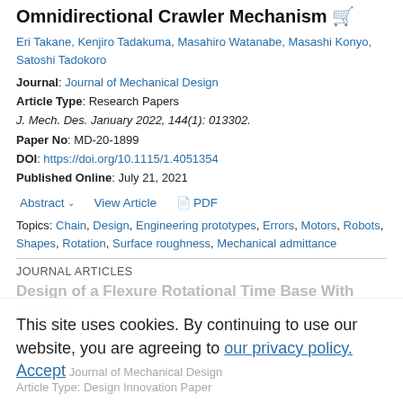Omnidirectional Crawler Mechanism
Eri Takane, Kenjiro Tadakuma, Masahiro Watanabe, Masashi Konyo, Satoshi Tadokoro
Journal: Journal of Mechanical Design
Article Type: Research Papers
J. Mech. Des. January 2022, 144(1): 013302.
Paper No: MD-20-1899
DOI: https://doi.org/10.1115/1.4051354
Published Online: July 21, 2021
Abstract  View Article  PDF
Topics: Chain, Design, Engineering prototypes, Errors, Motors, Robots, Shapes, Rotation, Surface roughness, Mechanical admittance
JOURNAL ARTICLES
Design of a Flexure Rotational Time Base With Varying
This site uses cookies. By continuing to use our website, you are agreeing to our privacy policy. Accept
Journal of Mechanical Design
Article Type: Design Innovation Paper